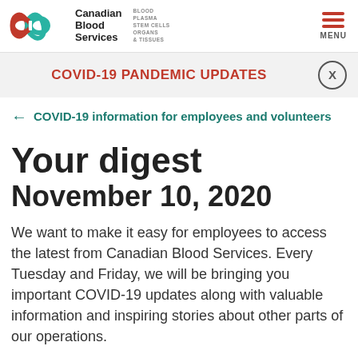Canadian Blood Services — BLOOD PLASMA STEM CELLS ORGANS & TISSUES — MENU
COVID-19 PANDEMIC UPDATES
← COVID-19 information for employees and volunteers
Your digest
November 10, 2020
We want to make it easy for employees to access the latest from Canadian Blood Services. Every Tuesday and Friday, we will be bringing you important COVID-19 updates along with valuable information and inspiring stories about other parts of our operations.